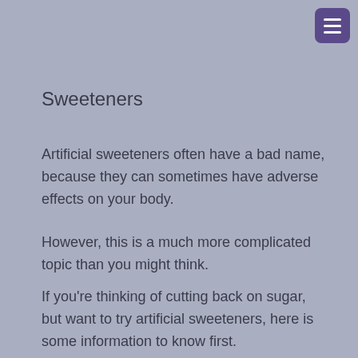Sweeteners
Artificial sweeteners often have a bad name, because they can sometimes have adverse effects on your body.
However, this is a much more complicated topic than you might think.
If you’re thinking of cutting back on sugar, but want to try artificial sweeteners, here is some information to know first.
[Figure (photo): Glass jars containing sugar or sweetener substances, photographed from above on a light background]